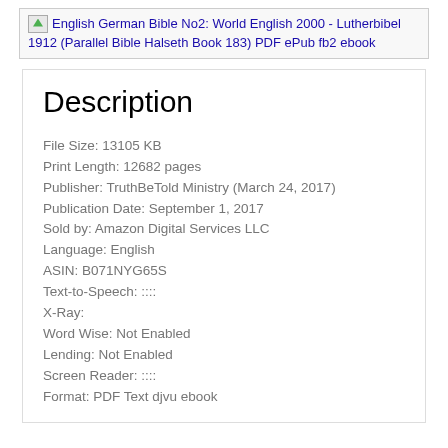[Figure (other): Placeholder image icon with text: English German Bible No2: World English 2000 - Lutherbibel 1912 (Parallel Bible Halseth Book 183) PDF ePub fb2 ebook]
Description
File Size: 13105 KB
Print Length: 12682 pages
Publisher: TruthBeTold Ministry (March 24, 2017)
Publication Date: September 1, 2017
Sold by: Amazon Digital Services LLC
Language: English
ASIN: B071NYG65S
Text-to-Speech: ::::
X-Ray:
Word Wise: Not Enabled
Lending: Not Enabled
Screen Reader: ::::
Format: PDF Text djvu ebook